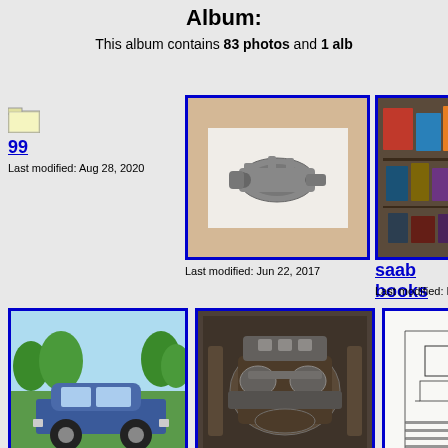Album:
This album contains 83 photos and 1 alb
[Figure (photo): Folder icon for album 99]
99
Last modified: Aug 28, 2020
[Figure (photo): Photo of a metal automotive part (brake cylinder) on white paper]
Last modified: Jun 22, 2017
[Figure (photo): Photo of a collection of saab books arranged on a surface]
saab books
Last modified: Nov 1,
[Figure (photo): Photo of a blue Saab car parked on grass, side view]
side view
Last modified: Aug 23, 2020
[Figure (photo): Grayscale photo of an engine compartment, 76EMS]
76EMS
Last modified: Aug 24, 2020
[Figure (photo): Scanned technical/engineering diagram document labeled thermo]
thermo
Last modified: Aug 25